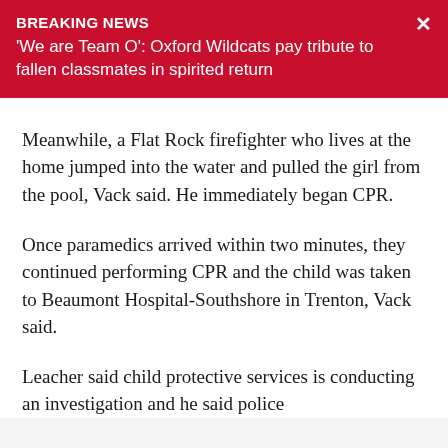BREAKING NEWS
'We are Team O': Oxford Wildcats pay tribute to fallen classmates in spirited return
Meanwhile, a Flat Rock firefighter who lives at the home jumped into the water and pulled the girl from the pool, Vack said. He immediately began CPR.
Once paramedics arrived within two minutes, they continued performing CPR and the child was taken to Beaumont Hospital-Southshore in Trenton, Vack said.
Leacher said child protective services is conducting an investigation and he said police